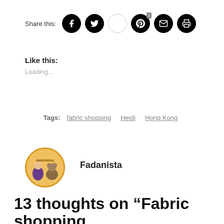Share this:
[Figure (infographic): Row of social share icon buttons: Facebook, Twitter, (blank/ellipsis), Pinterest with badge 1, Email, Print]
Like this:
Loading...
Tags:  fabric shopping   Heidi   Hong Kong
[Figure (photo): Circular avatar for Fadanista blog with illustrated characters on orange/yellow background with text 'sweetoney']
Fadanista
13 thoughts on “Fabric shopping